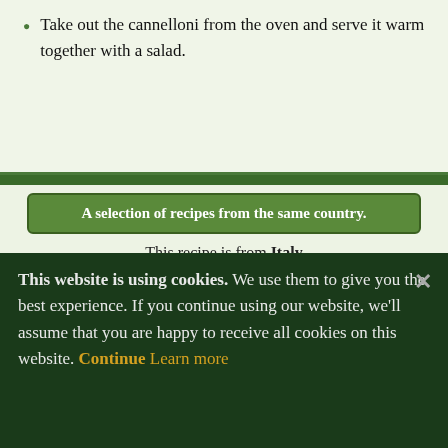Take out the cannelloni from the oven and serve it warm together with a salad.
A selection of recipes from the same country.
This recipe is from Italy
[Figure (map): Map of Italy highlighted in dark green on a light green background showing the Italian peninsula, Sicily, and Sardinia]
This website is using cookies. We use them to give you the best experience. If you continue using our website, we'll assume that you are happy to receive all cookies on this website. Continue  Learn more